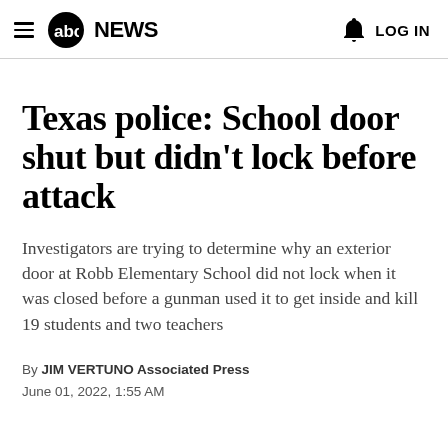≡ abc NEWS   🔔 LOG IN
Texas police: School door shut but didn't lock before attack
Investigators are trying to determine why an exterior door at Robb Elementary School did not lock when it was closed before a gunman used it to get inside and kill 19 students and two teachers
By JIM VERTUNO Associated Press
June 01, 2022, 1:55 AM